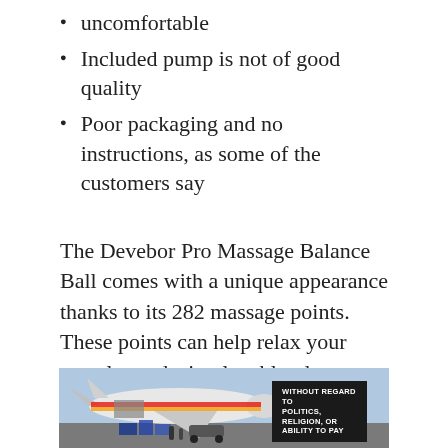uncomfortable
Included pump is not of good quality
Poor packaging and no instructions, as some of the customers say
The Devebor Pro Massage Balance Ball comes with a unique appearance thanks to its 282 massage points. These points can help relax your muscles and stimulate blood circulation. Aside from that, it has a high bearing capacity, loading a maximum weight of 800 lbs.
Although it’s sturdy and durable, this balance ball is portable and lightweight. Its 23.6 inches
[Figure (photo): Advertisement showing cargo plane loading with colorful freight. Badge reads WITHOUT REGARD TO POLITICS, RELIGION, OR ABILITY TO PAY]